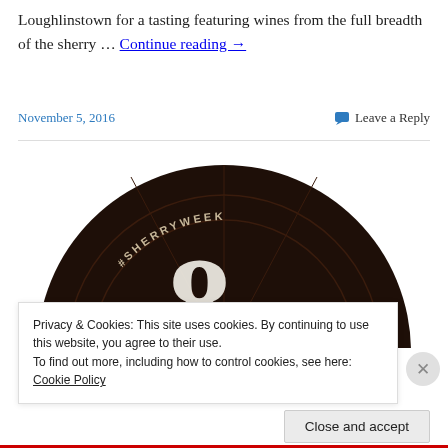Loughlinstown for a tasting featuring wines from the full breadth of the sherry … Continue reading →
November 5, 2016    Leave a Reply
[Figure (photo): Dark circular logo/badge for #SHERRYWEEK International Sherry Week, dark brown background with cream lettering and decorative design]
Privacy & Cookies: This site uses cookies. By continuing to use this website, you agree to their use.
To find out more, including how to control cookies, see here: Cookie Policy
Close and accept